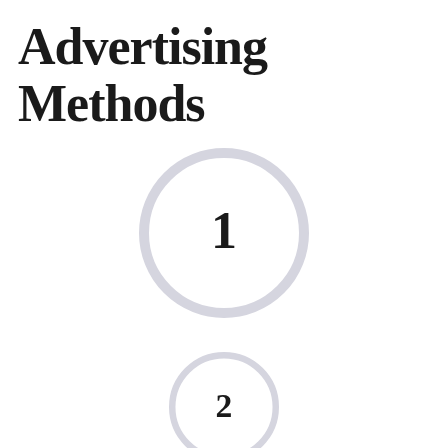Advertising Methods
[Figure (infographic): Circle with number 1 inside, light gray border, white fill]
[Figure (infographic): Circle with number 2 inside, light gray border, white fill, partially cut off at bottom]